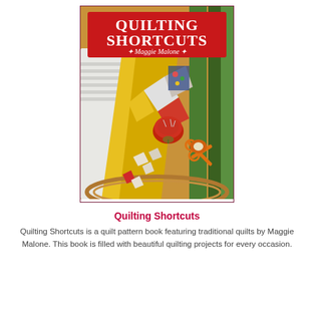[Figure (photo): Book cover of 'Quilting Shortcuts' by Maggie Malone. Red banner at top with white bold serif text reading 'QUILTING SHORTCUTS' and 'Maggie Malone' below it with decorative asterisks. Below the banner is a photo of quilting supplies including fabric pieces in various colors, scissors, a tomato pincushion, and embroidery hoop arranged together.]
Quilting Shortcuts
Quilting Shortcuts is a quilt pattern book featuring traditional quilts by Maggie Malone. This book is filled with beautiful quilting projects for every occasion.